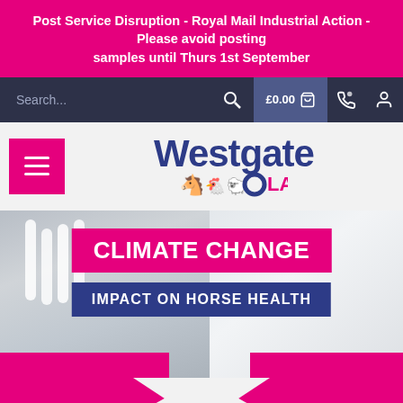Post Service Disruption - Royal Mail Industrial Action - Please avoid posting samples until Thurs 1st September
Search...
[Figure (screenshot): Westgate Labs website header with search bar, cart showing £0.00, phone and account icons]
[Figure (logo): Westgate Labs logo with animal silhouettes (horse, chicken, sheep) and circular O in LABS]
[Figure (photo): Hero banner image with lab equipment on the left and white coat on the right, overlaid with 'CLIMATE CHANGE' in pink banner and 'IMPACT ON HORSE HEALTH' in dark blue banner]
CLIMATE CHANGE
IMPACT ON HORSE HEALTH
First published in 'Equestrian Business', Claire Shand, Equine RAMA, Westgate Labs, explains.